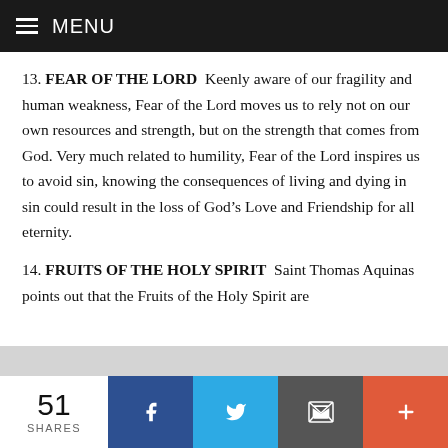MENU
13. FEAR OF THE LORD  Keenly aware of our fragility and human weakness, Fear of the Lord moves us to rely not on our own resources and strength, but on the strength that comes from God. Very much related to humility, Fear of the Lord inspires us to avoid sin, knowing the consequences of living and dying in sin could result in the loss of God’s Love and Friendship for all eternity.
14. FRUITS OF THE HOLY SPIRIT  Saint Thomas Aquinas points out that the Fruits of the Holy Spirit are
51 SHARES